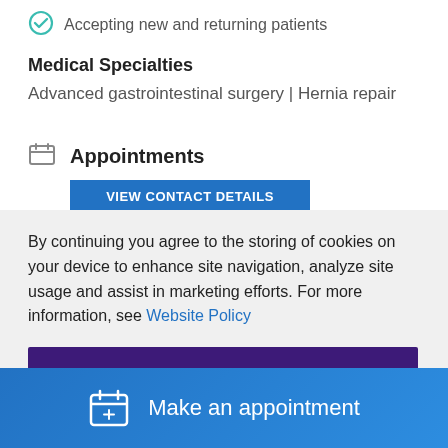Accepting new and returning patients
Medical Specialties
Advanced gastrointestinal surgery | Hernia repair
Appointments
VIEW CONTACT DETAILS
By continuing you agree to the storing of cookies on your device to enhance site navigation, analyze site usage and assist in marketing efforts. For more information, see Website Policy
Accept
Make an appointment